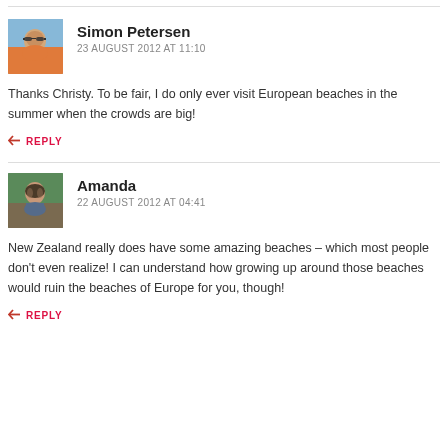[Figure (photo): Avatar photo of Simon Petersen – man wearing sunglasses and orange shirt outdoors]
Simon Petersen
23 AUGUST 2012 AT 11:10
Thanks Christy. To be fair, I do only ever visit European beaches in the summer when the crowds are big!
REPLY
[Figure (photo): Avatar photo of Amanda – woman sitting outdoors with greenery in background]
Amanda
22 AUGUST 2012 AT 04:41
New Zealand really does have some amazing beaches – which most people don't even realize! I can understand how growing up around those beaches would ruin the beaches of Europe for you, though!
REPLY